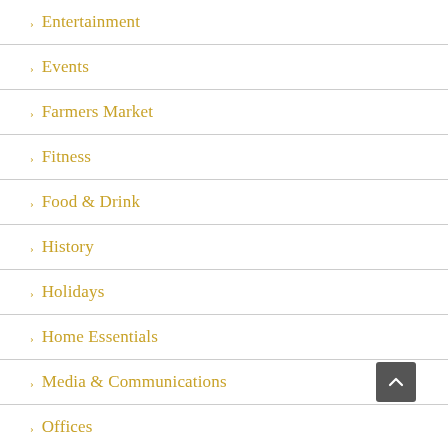Entertainment
Events
Farmers Market
Fitness
Food & Drink
History
Holidays
Home Essentials
Media & Communications
Offices